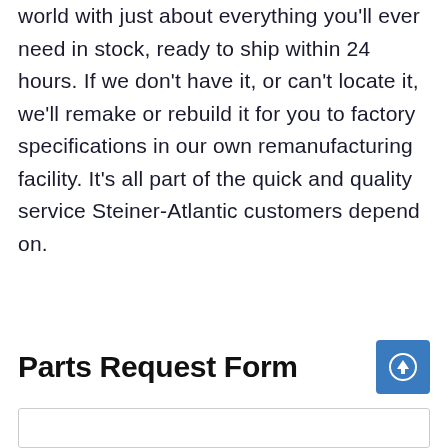world with just about everything you'll ever need in stock, ready to ship within 24 hours. If we don't have it, or can't locate it, we'll remake or rebuild it for you to factory specifications in our own remanufacturing facility. It's all part of the quick and quality service Steiner-Atlantic customers depend on.
Parts Request Form
[Figure (other): Blue square button with white circle-arrow upload icon]